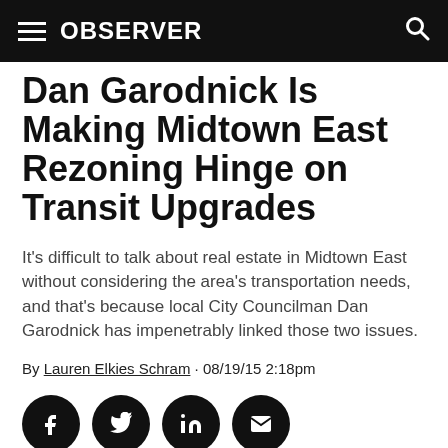OBSERVER
Dan Garodnick Is Making Midtown East Rezoning Hinge on Transit Upgrades
It's difficult to talk about real estate in Midtown East without considering the area's transportation needs, and that's because local City Councilman Dan Garodnick has impenetrably linked those two issues.
By Lauren Elkies Schram · 08/19/15 2:18pm
[Figure (other): Social sharing buttons: Facebook, Twitter, LinkedIn, Email]